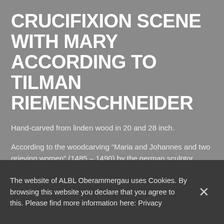CRUCIFIXION SCENE WITH MARY ACCORDING TO TILMAN RIEMENSCHNEIDER
Hand-carved from linden wood in 20 and 28 inch.
According to the woodcarving “Maria and Johannes and two grieving women” (1485 – 1490) by the german sculptor Tilman Riemenschneider. Today it is in the “Bayerisches Nationalmuseum”, Munich.
We can offer you the article any time as an individual unique
The website of ALBL Oberammergau uses Cookies. By browsing this website you declare that you agree to this. Please find more information here: Privacy